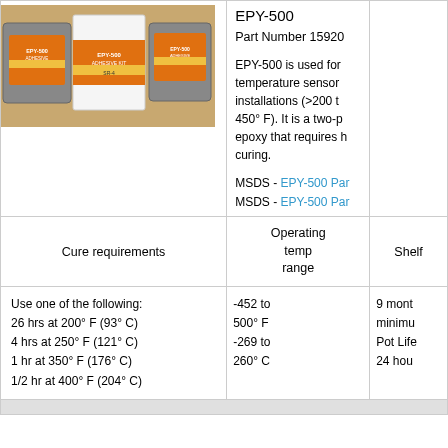EPY-500
Part Number 15920
[Figure (photo): Photo of EPY-500 Adhesive Kit packages — two silver foil pouches and a white box labeled EPY-500 ADHESIVE KIT SR-4, on a wooden surface]
EPY-500 is used for temperature sensor installations (>200 to 450° F). It is a two-part epoxy that requires heat curing.

MSDS - EPY-500 Par...
MSDS - EPY-500 Par...
| Cure requirements | Operating temp range | Shelf |
| --- | --- | --- |
| Use one of the following:
26 hrs at 200° F (93° C)
4 hrs at 250° F (121° C)
1 hr at 350° F (176° C)
1/2 hr at 400° F (204° C) | -452 to 500° F
-269 to 260° C | 9 months minimum
Pot Life
24 hours |